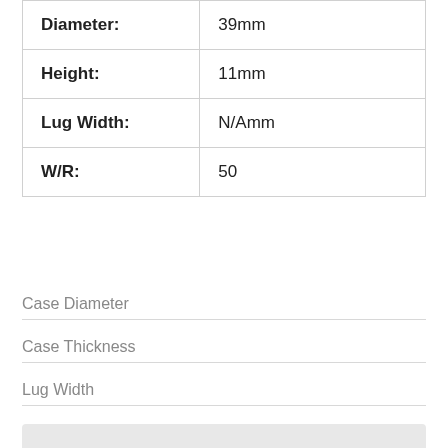| Specification | Value |
| --- | --- |
| Diameter: | 39mm |
| Height: | 11mm |
| Lug Width: | N/Amm |
| W/R: | 50 |
Case Diameter
Case Thickness
Lug Width
Water Resistance